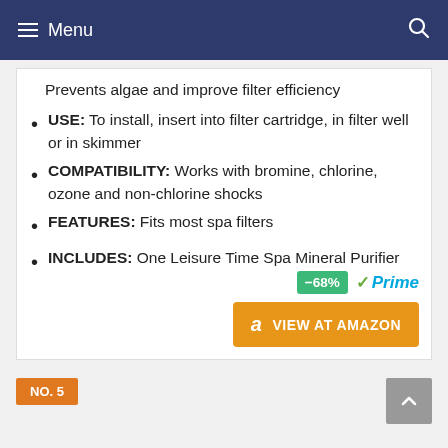Menu
Prevents algae and improve filter efficiency
USE: To install, insert into filter cartridge, in filter well or in skimmer
COMPATIBILITY: Works with bromine, chlorine, ozone and non-chlorine shocks
FEATURES: Fits most spa filters
INCLUDES: One Leisure Time Spa Mineral Purifier
-68% Prime VIEW AT AMAZON
NO. 5